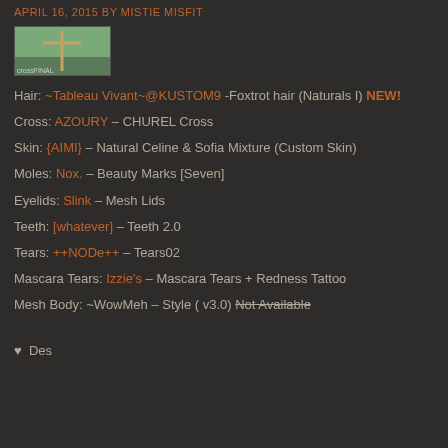APRIL 16, 2015 BY MISTIE MISFIT
[Figure (photo): Thumbnail image labeled crossFINAL showing a small landscape/cross image]
Hair: ~Tableau Vivant~@KUSTOM9 -Foxtrot hair (Naturals I) NEW!
Cross: AZOURY – CHUREL Cross
Skin: {AIMI} – Natural Celine & Sofia Mixture (Custom Skin)
Moles: Nox. – Beauty Marks [Seven]
Eyelids: Slink  –  Mesh Lids
Teeth: [whatever] – Teeth 2.0
Tears: ++NODe++ – Tears02
Mascara Tears: Izzie's – Mascara Tears + Redness Tattoo
Mesh Body: ~WowMeh – Style ( v3.0) Not Available
♥  Des